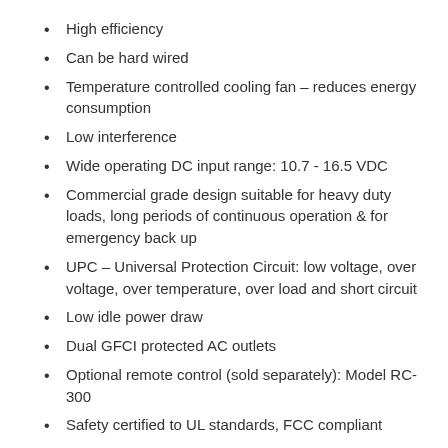High efficiency
Can be hard wired
Temperature controlled cooling fan – reduces energy consumption
Low interference
Wide operating DC input range: 10.7 - 16.5 VDC
Commercial grade design suitable for heavy duty loads, long periods of continuous operation & for emergency back up
UPC – Universal Protection Circuit: low voltage, over voltage, over temperature, over load and short circuit
Low idle power draw
Dual GFCI protected AC outlets
Optional remote control (sold separately): Model RC-300
Safety certified to UL standards, FCC compliant
Specifications:
Input 12 VDC